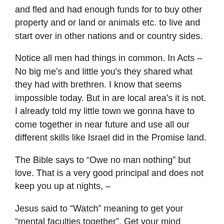and fled and had enough funds for to buy other property and or land or animals etc. to live and start over in other nations and or country sides.
Notice all men had things in common. In Acts – No big me's and little you's they shared what they had with brethren. I know that seems impossible today. But in are local area's it is not. I already told my little town we gonna have to come together in near future and use all our different skills like Israel did in the Promise land.
The Bible says to “Owe no man nothing” but love. That is a very good principal and does not keep you up at nights, –
Jesus said to “Watch” meaning to get your “mental faculties together”. Get your mind